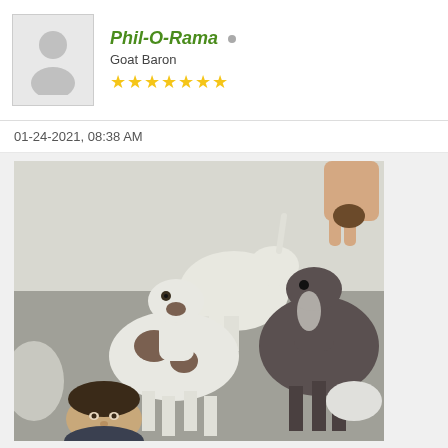[Figure (other): User avatar placeholder silhouette]
Phil-O-Rama
Goat Baron
★★★★★★★
01-24-2021,  08:38 AM
[Figure (photo): Photo of goats being fed by a hand, with a man's face visible in the lower portion of the image among a group of goats looking upward.]